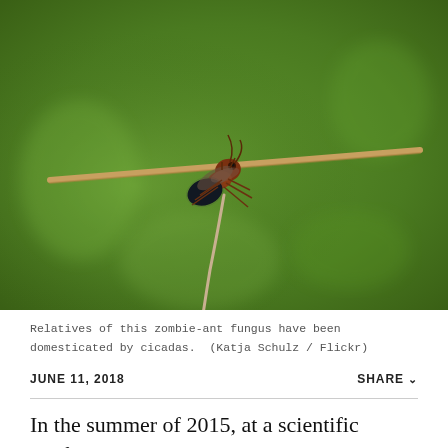[Figure (photo): Macro photograph of a zombie-ant fungus (Ophiocordyceps) attached to and hanging from a thin plant stem against a blurred green background. The ant/fungus specimen is reddish-brown with a long thin stroma projecting downward.]
Relatives of this zombie-ant fungus have been domesticated by cicadas.  (Katja Schulz / Flickr)
JUNE 11, 2018
SHARE
In the summer of 2015, at a scientific conference in New Hampshire, I was chatting with a biologist named John McCutcheon when an excited young